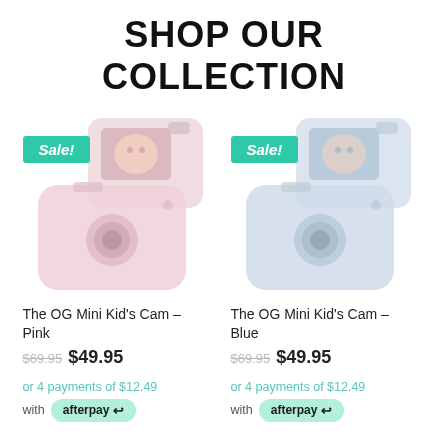SHOP OUR COLLECTION
[Figure (illustration): Kids digital camera product image in pink/rose color with a Sale! badge overlay]
The OG Mini Kid's Cam – Pink
$69.95 $49.95
or 4 payments of $12.49
with afterpay
[Figure (illustration): Kids digital camera product image in blue/light blue color with a Sale! badge overlay]
The OG Mini Kid's Cam – Blue
$69.95 $49.95
or 4 payments of $12.49
with afterpay